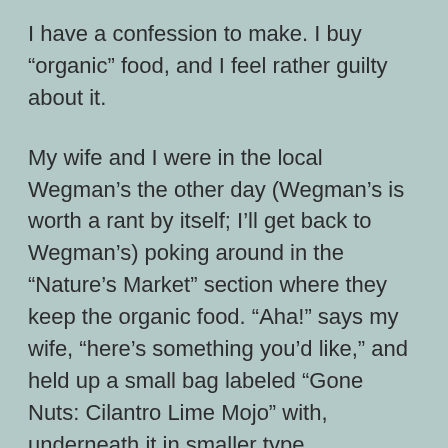I have a confession to make. I buy “organic” food, and I feel rather guilty about it.
My wife and I were in the local Wegman’s the other day (Wegman’s is worth a rant by itself; I’ll get back to Wegman’s) poking around in the “Nature’s Market” section where they keep the organic food. “Aha!” says my wife, “here’s something you’d like,” and held up a small bag labeled “Gone Nuts: Cilantro Lime Mojo” with, underneath it in smaller type, “Pistachios and Pepitas”.
I seized the bag and looked on the back. “Pure